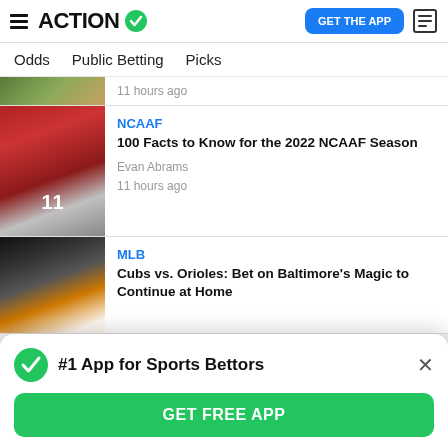ACTION #1 App for Sports Bettors — GET THE APP
Odds  Public Betting  Picks
11 hours ago
NCAAF
100 Facts to Know for the 2022 NCAAF Season
Evan Abrams
11 hours ago
MLB
Cubs vs. Orioles: Bet on Baltimore's Magic to Continue at Home
#1 App for Sports Bettors
GET FREE APP
Makes $7B Big Ten Deal Make Sense